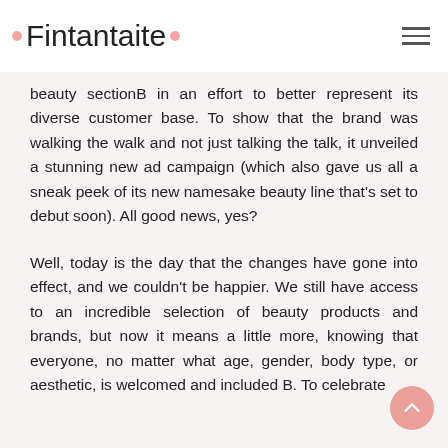Fintantaite
beauty sectionB in an effort to better represent its diverse customer base. To show that the brand was walking the walk and not just talking the talk, it unveiled a stunning new ad campaign (which also gave us all a sneak peek of its new namesake beauty line that's set to debut soon). All good news, yes?
Well, today is the day that the changes have gone into effect, and we couldn't be happier. We still have access to an incredible selection of beauty products and brands, but now it means a little more, knowing that everyone, no matter what age, gender, body type, or aesthetic, is welcomed and included B. To celebrate